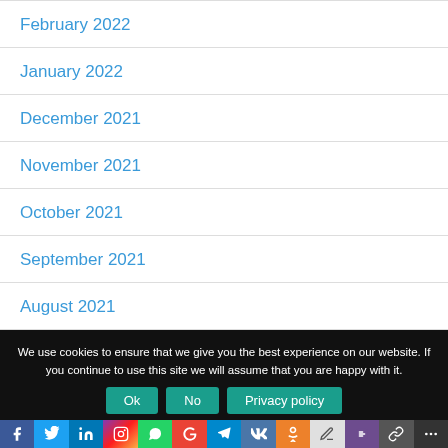February 2022
January 2022
December 2021
November 2021
October 2021
September 2021
August 2021
July 2021
June 2021
We use cookies to ensure that we give you the best experience on our website. If you continue to use this site we will assume that you are happy with it.
Ok | No | Privacy policy | [social share icons]